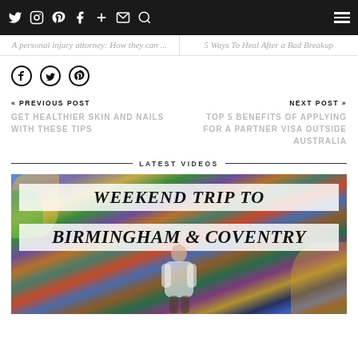Twitter Instagram Pinterest Facebook + Mail Search [hamburger menu]
A personal injury attorney: How they can ...
5 Ways To Heal After a Bad Breakup
[Figure (other): Social share icons: Facebook, Twitter, Pinterest]
« PREVIOUS POST
GET HEALTHIER SKIN AND NAILS WITH THESE TIPS
NEXT POST »
TOP 5 BENEFITS OF APPLYING FOR A PARTNER VISA OUTSIDE AUSTRALIA
LATEST VIDEOS
[Figure (photo): Video thumbnail showing 'WEEKEND TRIP TO BIRMINGHAM & COVENTRY' with person holding camera against colorful street art background]